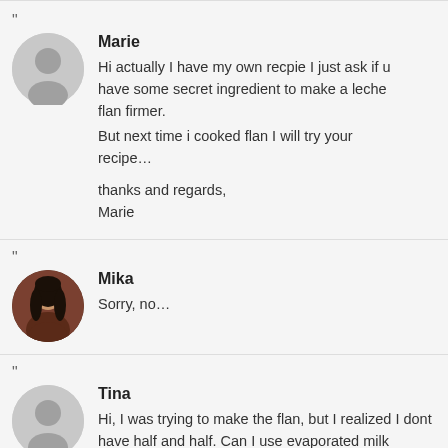Marie
Hi actually I have my own recpie I just ask if u have some secret ingredient to make a leche flan firmer.
But next time i cooked flan I will try your recipe...

thanks and regards,
Marie
Mika
Sorry, no...
Tina
Hi, I was trying to make the flan, but I realized I dont have half and half. Can I use evaporated milk instead?